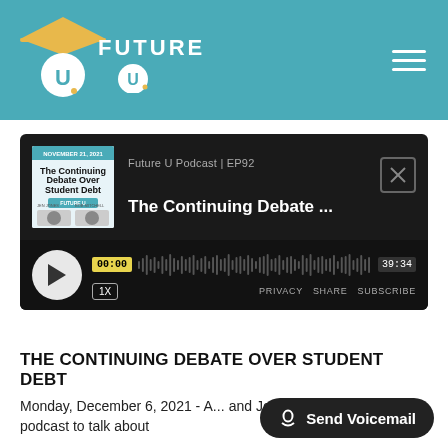[Figure (logo): Future U podcast logo with graduation cap icon and 'FUTURE U' text on teal background]
[Figure (screenshot): Podcast audio player showing episode 'The Continuing Debate...' with waveform, play button, time 00:00 / 39:34, speed 1X, and controls for PRIVACY, SHARE, SUBSCRIBE]
THE CONTINUING DEBATE OVER STUDENT DEBT
Monday, December 6, 2021 - A... and Josh Mitchell join the podcast to talk about